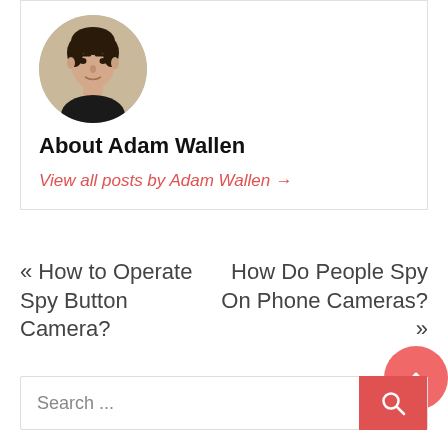[Figure (photo): Circular avatar photo of Adam Wallen, a young man in a dark shirt]
About Adam Wallen
View all posts by Adam Wallen →
« How to Operate Spy Button Camera?
How Do People Spy On Phone Cameras? »
Search ...